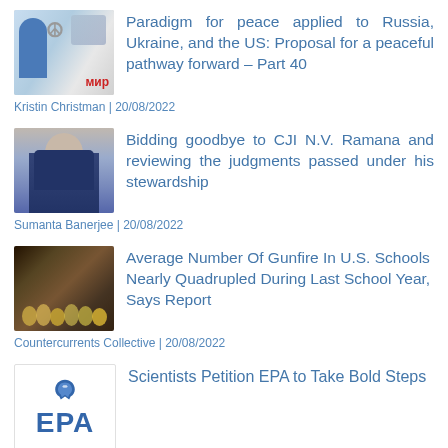[Figure (photo): Thumbnail image with peace symbol and мир text]
Paradigm for peace applied to Russia, Ukraine, and the US: Proposal for a peaceful pathway forward – Part 40
Kristin Christman | 20/08/2022
[Figure (photo): Portrait photo of CJI N.V. Ramana in suit]
Bidding goodbye to CJI N.V. Ramana and reviewing the judgments passed under his stewardship
Sumanta Banerjee | 20/08/2022
[Figure (photo): Group of children holding candles]
Average Number Of Gunfire In U.S. Schools Nearly Quadrupled During Last School Year, Says Report
Countercurrents Collective | 20/08/2022
[Figure (logo): EPA logo with leaf icon]
Scientists Petition EPA to Take Bold Steps
Robert Hunziker | 20/08/2022